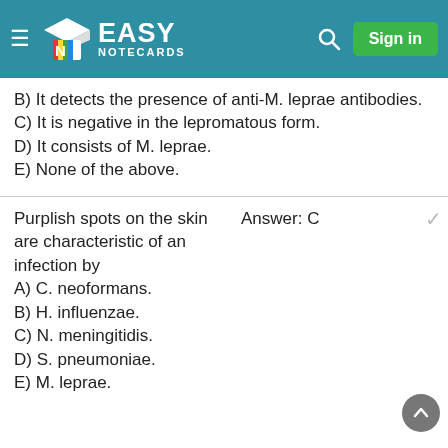Easy Notecards
B) It detects the presence of anti-M. leprae antibodies.
C) It is negative in the lepromatous form.
D) It consists of M. leprae.
E) None of the above.
Purplish spots on the skin are characteristic of an infection by
Answer: C
A) C. neoformans.
B) H. influenzae.
C) N. meningitidis.
D) S. pneumoniae.
E) M. leprae.